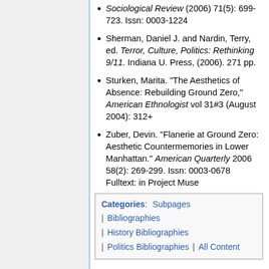Sociological Review (2006) 71(5): 699-723. Issn: 0003-1224
Sherman, Daniel J. and Nardin, Terry, ed. Terror, Culture, Politics: Rethinking 9/11. Indiana U. Press, (2006). 271 pp.
Sturken, Marita. "The Aesthetics of Absence: Rebuilding Ground Zero," American Ethnologist vol 31#3 (August 2004): 312+
Zuber, Devin. "Flanerie at Ground Zero: Aesthetic Countermemories in Lower Manhattan." American Quarterly 2006 58(2): 269-299. Issn: 0003-0678 Fulltext: in Project Muse
Categories: Subpages | Bibliographies | History Bibliographies | Politics Bibliographies | All Content